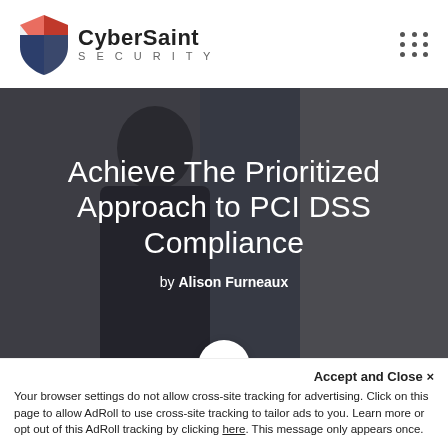[Figure (logo): CyberSaint Security logo with shield icon in red and dark blue, company name in bold sans-serif]
[Figure (photo): Dark-overlaid photo of a man in a blue shirt carrying folders/documents, standing near a door. Hero image with white title text overlay.]
Achieve The Prioritized Approach to PCI DSS Compliance
by Alison Furneaux
Accept and Close ✕
Your browser settings do not allow cross-site tracking for advertising. Click on this page to allow AdRoll to use cross-site tracking to tailor ads to you. Learn more or opt out of this AdRoll tracking by clicking here. This message only appears once.